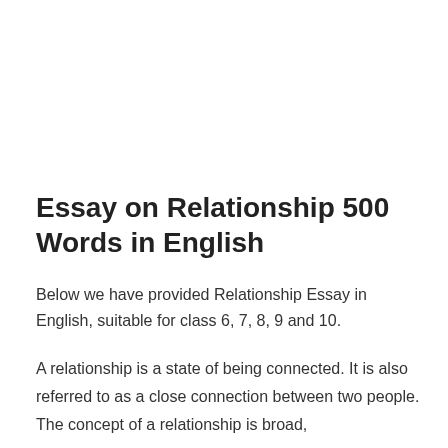Essay on Relationship 500 Words in English
Below we have provided Relationship Essay in English, suitable for class 6, 7, 8, 9 and 10.
A relationship is a state of being connected. It is also referred to as a close connection between two people. The concept of a relationship is broad,